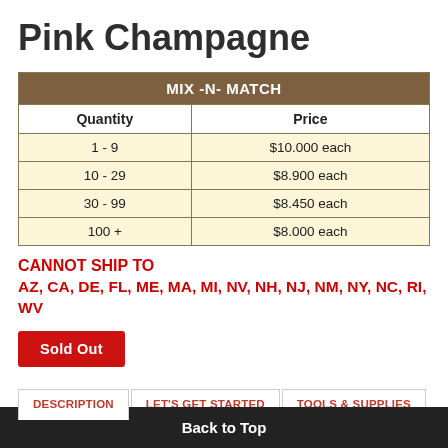Pink Champagne
| MIX -N- MATCH |  |
| --- | --- |
| Quantity | Price |
| 1 - 9 | $10.000 each |
| 10 - 29 | $8.900 each |
| 30 - 99 | $8.450 each |
| 100 + | $8.000 each |
CANNOT SHIP TO
AZ, CA, DE, FL, ME, MA, MI, NV, NH, NJ, NM, NY, NC, RI, WV
Sold Out
DESCRIPTION	LET'S GET STARTED	TOOLS & SUPPLIES
VIDEOS	QUICK TIPS/GUIDES	SHIPPING INFORMATION
Back to Top